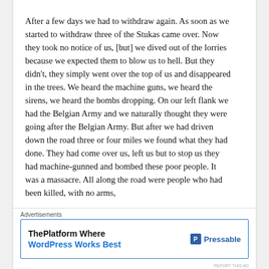After a few days we had to withdraw again. As soon as we started to withdraw three of the Stukas came over. Now they took no notice of us, [but] we dived out of the lorries because we expected them to blow us to hell. But they didn't, they simply went over the top of us and disappeared in the trees. We heard the machine guns, we heard the sirens, we heard the bombs dropping. On our left flank we had the Belgian Army and we naturally thought they were going after the Belgian Army. But after we had driven down the road three or four miles we found what they had done. They had come over us, left us but to stop us they had machine-gunned and bombed these poor people. It was a massacre. All along the road were people who had been killed, with no arms,
Advertisements
ThePlatform Where WordPress Works Best — Pressable